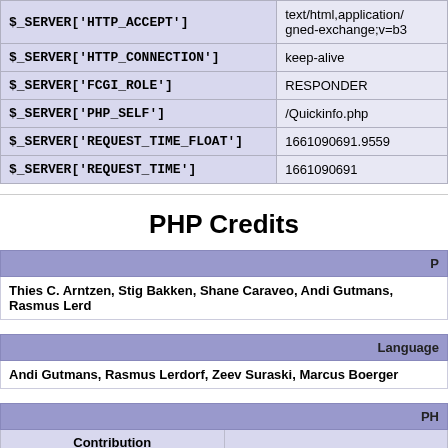| Key | Value |
| --- | --- |
| $_SERVER['HTTP_ACCEPT'] | text/html,application/xhtml+xml,application/xml;q=0.9,image/avif,image/webp,image/apng,*/*;q=0.8,application/signed-exchange;v=b3;q=0.9 |
| $_SERVER['HTTP_CONNECTION'] | keep-alive |
| $_SERVER['FCGI_ROLE'] | RESPONDER |
| $_SERVER['PHP_SELF'] | /Quickinfo.php |
| $_SERVER['REQUEST_TIME_FLOAT'] | 1661090691.9559 |
| $_SERVER['REQUEST_TIME'] | 1661090691 |
PHP Credits
| PHP Authors |
| --- |
| Thies C. Arntzen, Stig Bakken, Shane Caraveo, Andi Gutmans, Rasmus Lerdorf, ... |
| Language Design & Concept |
| --- |
| Andi Gutmans, Rasmus Lerdorf, Zeev Suraski, Marcus Boerger |
| PHP 4 Authors |  |  |
| --- | --- | --- |
| Contribution |  |  |
| Zend Scripting Language Engine | Andi Gutmans, Zeev S... |  |
| Extension Module API | Andi Gutmans, Zeev S... |  |